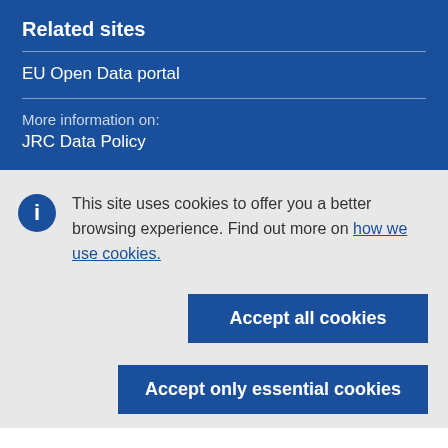Related sites
EU Open Data portal
More information on:
JRC Data Policy
This site uses cookies to offer you a better browsing experience. Find out more on how we use cookies.
Accept all cookies
Accept only essential cookies